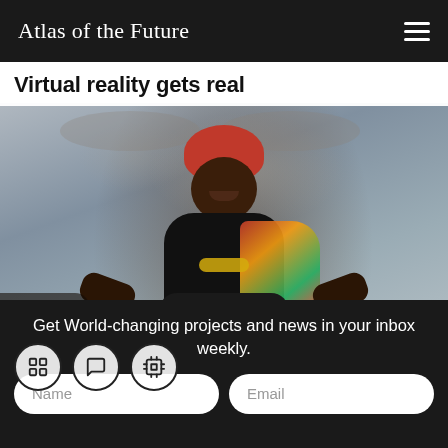Atlas of the Future
Virtual reality gets real
[Figure (photo): A woman wearing a red headwrap and colorful traditional clothing holds a VR headset toward the camera, smiling. Behind her is an artistic mural depicting large eyes. Small figures are visible in the lower background. Three icon circles are overlaid at the bottom of the image: a grid/cross icon, a comment/chat icon, and a chip/processor icon.]
Get World-changing projects and news in your inbox weekly.